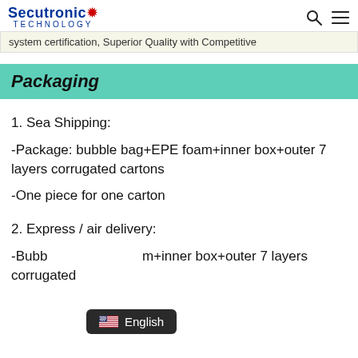Secutronic TECHNOLOGY
system certification, Superior Quality with Competitive
Packaging
1. Sea Shipping:
-Package: bubble bag+EPE foam+inner box+outer 7 layers corrugated cartons
-One piece for one carton
2. Express / air delivery:
-Bubb m+inner box+outer 7 layers corrugated
English